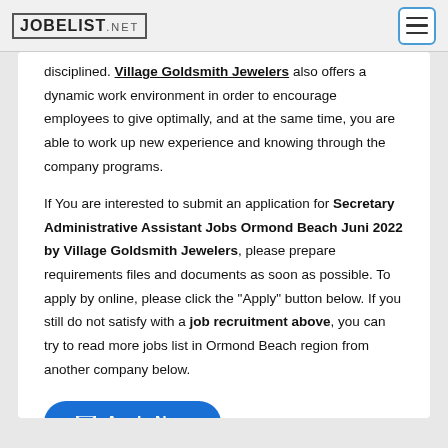JOBELIST.NET
disciplined. Village Goldsmith Jewelers also offers a dynamic work environment in order to encourage employees to give optimally, and at the same time, you are able to work up new experience and knowing through the company programs.
If You are interested to submit an application for Secretary Administrative Assistant Jobs Ormond Beach Juni 2022 by Village Goldsmith Jewelers, please prepare requirements files and documents as soon as possible. To apply by online, please click the "Apply" button below. If you still do not satisfy with a job recruitment above, you can try to read more jobs list in Ormond Beach region from another company below.